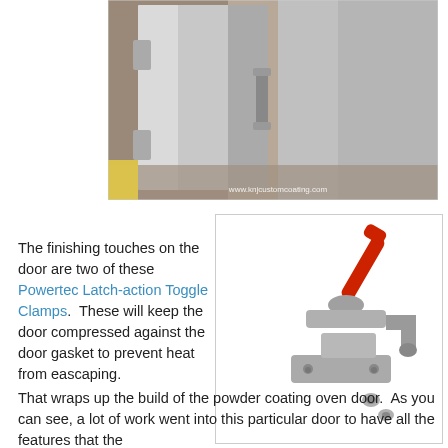[Figure (photo): Photo of a large stainless steel powder coating oven door, metallic silver finish, standing open in what appears to be a workshop. Watermark reads www.knjcustomcoating.com]
The finishing touches on the door are two of these Powertec Latch-action Toggle Clamps.  These will keep the door compressed against the door gasket to prevent heat from eascaping.
[Figure (photo): Product photo of a Powertec Latch-action Toggle Clamp — silver metal clamp with red handle, shown with mounting hardware on white background.]
That wraps up the build of the powder coating oven door.  As you can see, a lot of work went into this particular door to have all the features that the